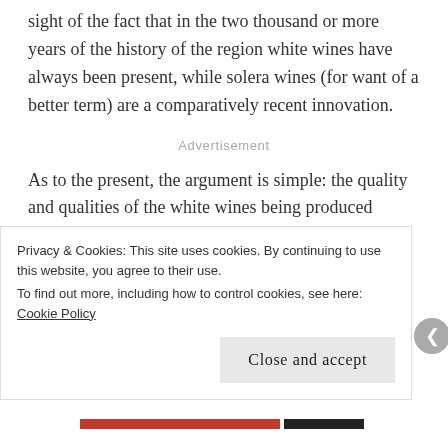sight of the fact that in the two thousand or more years of the history of the region white wines have always been present, while solera wines (for want of a better term) are a comparatively recent innovation.
Advertisement
As to the present, the argument is simple: the quality and qualities of the white wines being produced cannot be doubted. And while Willy didn't want to labour the point, for me he stopped short again,
Privacy & Cookies: This site uses cookies. By continuing to use this website, you agree to their use.
To find out more, including how to control cookies, see here: Cookie Policy